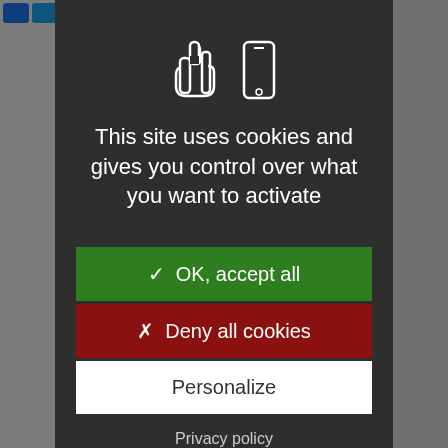[Figure (screenshot): Cookie consent modal overlay on a French e-commerce website. Background shows a product listing page with 'Shom', 'Carte m...', 'Capo San Lor...', price '36,70 €', a gold add-to-cart button, a PROMO -5% badge, and a map icon. The modal is a dark gray panel centered on screen with a hand/phone icon at top, the cookie notice text, and three buttons: green OK accept all, dark red Deny all cookies, white Personalize, and a Privacy policy text link at bottom.]